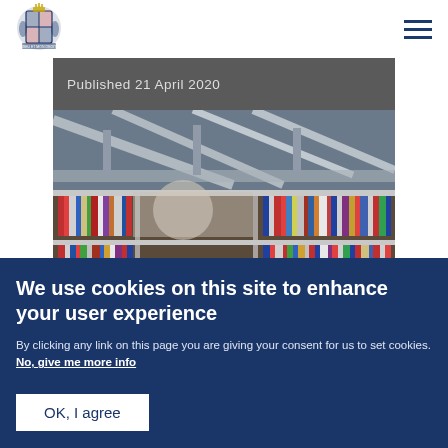UK Government logo and navigation menu
Published 21 April 2020
[Figure (photo): Library interior showing bookshelves with colourful books and structural steel beams above]
NEWS
We use cookies on this site to enhance your user experience
By clicking any link on this page you are giving your consent for us to set cookies. No, give me more info
OK, I agree